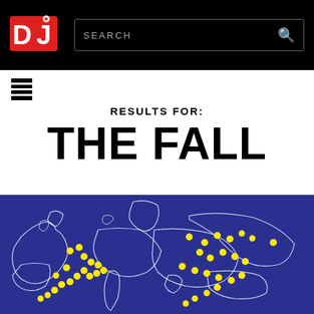DJ Mag — SEARCH
RESULTS FOR:
THE FALL
[Figure (map): Blue map of Europe and surrounding regions with yellow dot markers indicating event or venue locations across the continent.]